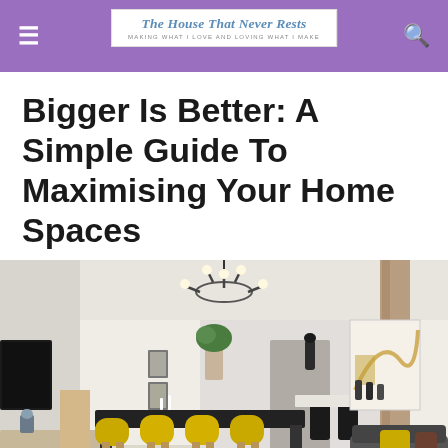The House That Never Rests — MAKING WHAT I LOVE AND LOVING WHAT I MAKE
Bigger Is Better: A Simple Guide To Maximising Your Home Spaces
[Figure (photo): Interior design photo of a modern open-plan living and dining room with yellow chairs, a dark dining table, a grey sofa with yellow cushions, wall art, and a pendant light fixture.]